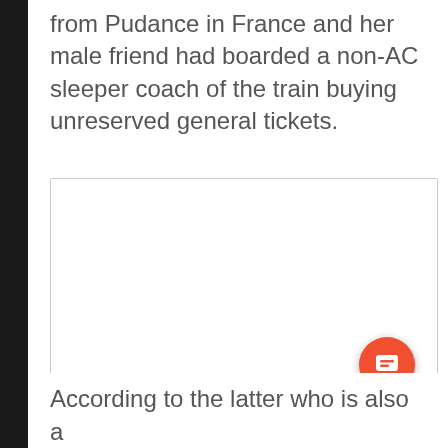from Pudance in France and her male friend had boarded a non-AC sleeper coach of the train buying unreserved general tickets.
[Figure (other): A white rectangular image placeholder box with a light gray border. An orange-red circular chat/comment button icon with a speech bubble icon is overlaid at the bottom-right corner of the box.]
According to the latter who is also a